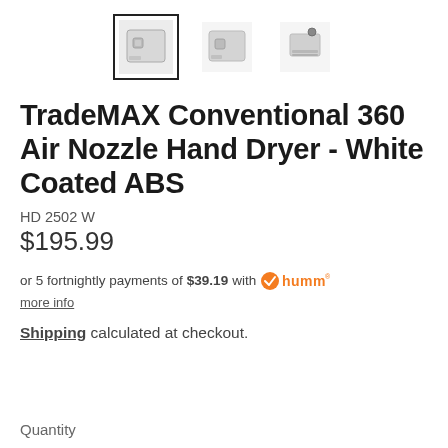[Figure (photo): Three thumbnail images of the TradeMAX Conventional 360 Air Nozzle Hand Dryer - White Coated ABS. First thumbnail is selected (bordered), showing front view; second shows front angled view; third shows side/top view.]
TradeMAX Conventional 360 Air Nozzle Hand Dryer - White Coated ABS
HD 2502 W
$195.99
or 5 fortnightly payments of $39.19 with humm more info
Shipping calculated at checkout.
Quantity